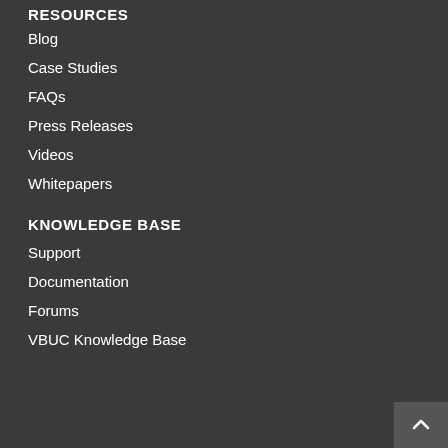RESOURCES
Blog
Case Studies
FAQs
Press Releases
Videos
Whitepapers
KNOWLEDGE BASE
Support
Documentation
Forums
VBUC Knowledge Base